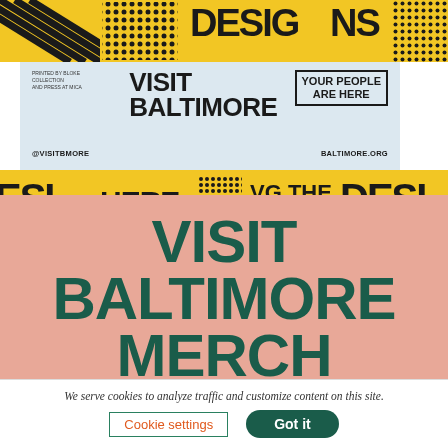[Figure (photo): Visit Baltimore promotional materials showing a light blue card with 'VISIT BALTIMORE' text, '@VISITBMORE' social handle, 'BALTIMORE.ORG' URL, 'YOUR PEOPLE ARE HERE' tagline, and yellow/black patterned background elements with bold graphic text]
VISIT BALTIMORE MERCH
Show off your Baltimore pride in style with t-
We serve cookies to analyze traffic and customize content on this site.
Cookie settings
Got it